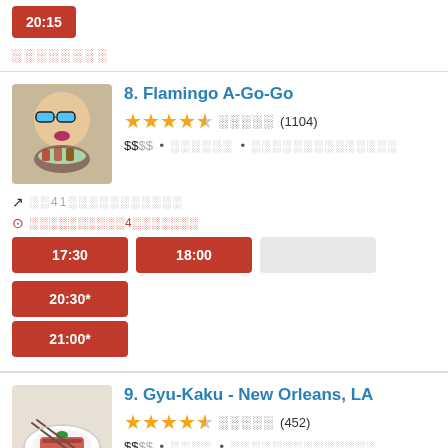20:15 (time button, partial, top)
░░░░░░░░ (redacted text)
8. Flamingo A-Go-Go
★★★★½ ░░░░░ (1104) $$░░ • ░░░░░░ • ░░░░░░░░░░░░░░
↗ ░░41░░░░░░░░░░░
:⊙ ░░░░░░░░░░4░░░░░░░
17:30 | 18:00 | [gray] | 20:30* | 21:00*
9. Gyu-Kaku - New Orleans, LA
★★★★½ ░░░░░ (452) $$░░ • ░░░░ • ░░░░░░░░░░░░░░